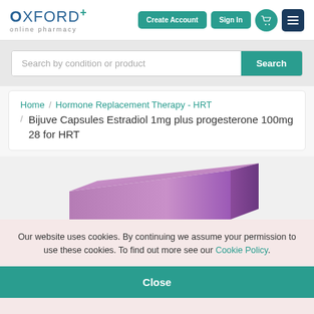OXFORD+ online pharmacy | Create Account | Sign In
Search by condition or product
Home / Hormone Replacement Therapy - HRT / Bijuve Capsules Estradiol 1mg plus progesterone 100mg 28 for HRT
[Figure (photo): Partial view of a purple/violet Bijuve Capsules medication box]
Our website uses cookies. By continuing we assume your permission to use these cookies. To find out more see our Cookie Policy.
Close